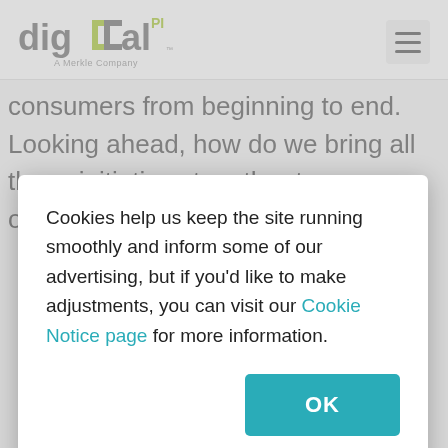[Figure (logo): Digital Pi logo — 'digitalPI' wordmark in gray and green with 'A Merkle Company' tagline below]
consumers from beginning to end. Looking ahead, how do we bring all those initiatives together to orchestrate
Cookies help us keep the site running smoothly and inform some of our advertising, but if you'd like to make adjustments, you can visit our Cookie Notice page for more information.
OK